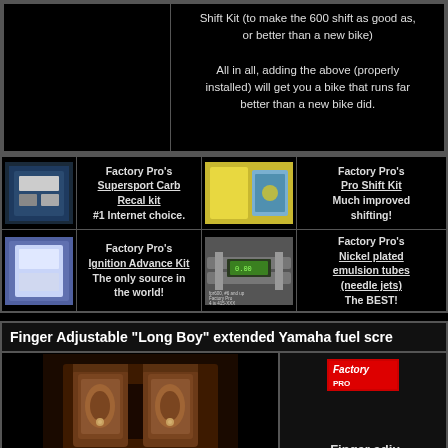Shift Kit (to make the 600 shift as good as, or better than a new bike)

All in all, adding the above (properly installed) will get you a bike that runs far better than a new bike did.
| [image: carb kit] | Factory Pro's Supersport Carb Recal kit #1 Internet choice. | [image: shift kit parts] | Factory Pro's Pro Shift Kit Much improved shifting! |
| [image: ignition kit] | Factory Pro's Ignition Advance Kit The only source in the world! | [image: calipers] | Factory Pro's Nickel plated emulsion tubes (needle jets) The BEST! |
Finger Adjustable "Long Boy" extended Yamaha fuel scre
[Figure (photo): Close-up photograph of engine carburetors/fuel screws area showing copper/brown colored engine parts]
[Figure (logo): Factory Pro logo (red background)]
Finger adju